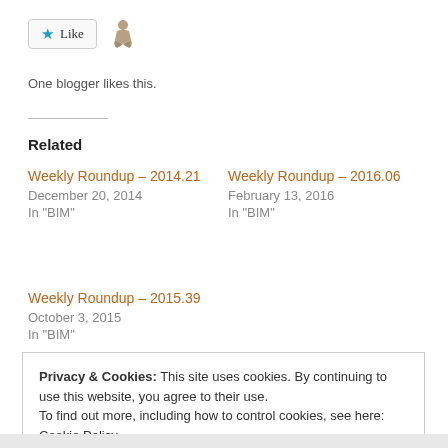[Figure (other): Like button with star icon and blogger avatar figure]
One blogger likes this.
Related
Weekly Roundup – 2014.21
December 20, 2014
In "BIM"
Weekly Roundup – 2016.06
February 13, 2016
In "BIM"
Weekly Roundup – 2015.39
October 3, 2015
In "BIM"
Privacy & Cookies: This site uses cookies. By continuing to use this website, you agree to their use.
To find out more, including how to control cookies, see here: Cookie Policy